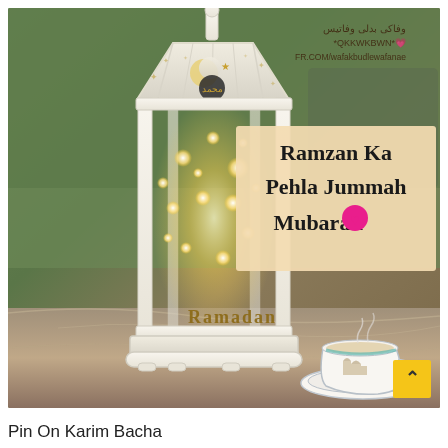[Figure (photo): A decorative white Ramadan lantern with glowing warm lights inside and 'Ramadan' text at the base, placed on a marbled surface next to a tea cup and saucer with Islamic decorations. Green blurred background. Text overlay reads 'Ramzan Ka Pehla Jummah Mubarak' with a pink heart on a beige background box. Watermark text in top right corner in Urdu/Arabic and English: 'وفاکی بدلی وفاتیس *QKKWKBWN* FR.COM/wafakbudlewafanae'. A golden arrow-up button in bottom right.]
Pin On Karim Bacha